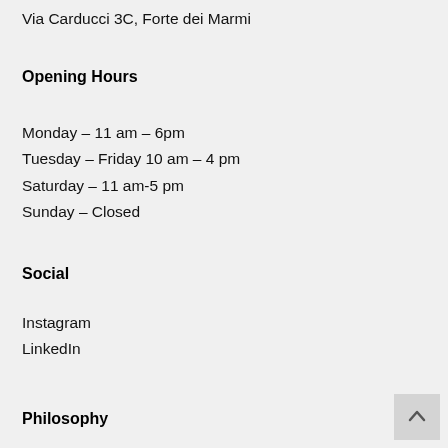Via Carducci 3C, Forte dei Marmi
Opening Hours
Monday – 11 am – 6pm
Tuesday – Friday 10 am – 4 pm
Saturday – 11 am-5 pm
Sunday – Closed
Social
Instagram
LinkedIn
Philosophy